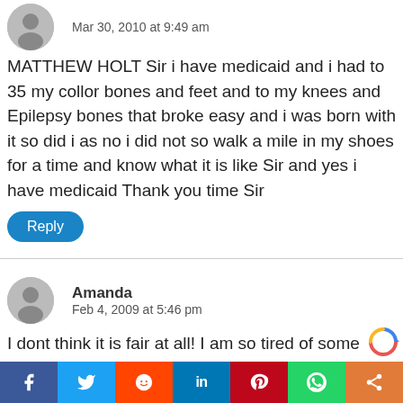Mar 30, 2010 at 9:49 am
MATTHEW HOLT Sir i have medicaid and i had to 35 my collor bones and feet and to my knees and Epilepsy bones that broke easy and i was born with it so did i as no i did not so walk a mile in my shoes for a time and know what it is like Sir and yes i have medicaid Thank you time Sir
Reply
Amanda
Feb 4, 2009 at 5:46 pm
I dont think it is fair at all! I am so tired of some people hand outs and having children on the taxpayers dollars creating more mouths to feed that they knowingly can